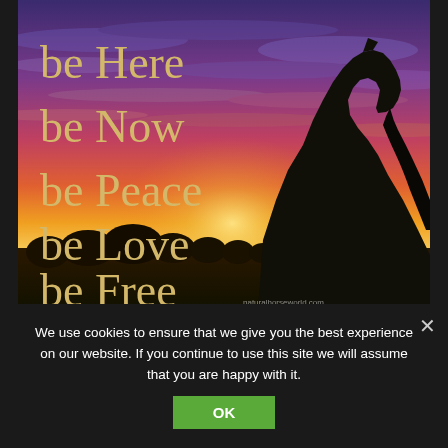[Figure (photo): A dramatic sunset sky with purple, blue, pink, and orange hues. In the right portion, the dark silhouette of a horse's head and neck. Overlaid text on the left reads: be Here / be Now / be Peace / be Love / be Free in golden/tan serif font. Watermark: naturalhorseworld.com at bottom right.]
We use cookies to ensure that we give you the best experience on our website. If you continue to use this site we will assume that you are happy with it.